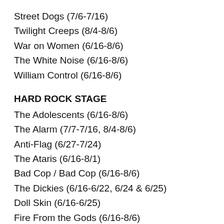Street Dogs (7/6-7/16)
Twilight Creeps (8/4-8/6)
War on Women (6/16-8/6)
The White Noise (6/16-8/6)
William Control (6/16-8/6)
HARD ROCK STAGE
The Adolescents (6/16-8/6)
The Alarm (7/7-7/16, 8/4-8/6)
Anti-Flag (6/27-7/24)
The Ataris (6/16-8/1)
Bad Cop / Bad Cop (6/16-8/6)
The Dickies (6/16-6/22, 6/24 & 6/25)
Doll Skin (6/16-6/25)
Fire From the Gods (6/16-8/6)
Municipal Waste (6/16-7/2, 7/6-8/6)